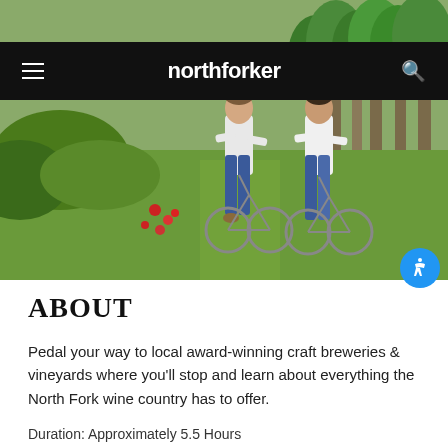[Figure (photo): Two people riding bicycles through a green field with trees and red flowers, viewed from the front]
northforker
[Figure (other): Blue circular accessibility button with person icon]
ABOUT
Pedal your way to local award-winning craft breweries & vineyards where you'll stop and learn about everything the North Fork wine country has to offer.
Duration: Approximately 5.5 Hours
Distance: Approximately 11-12 miles (around trip...